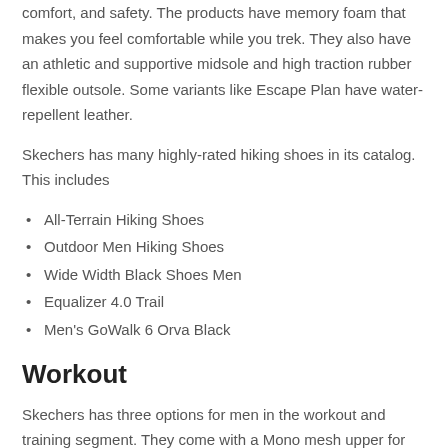comfort, and safety. The products have memory foam that makes you feel comfortable while you trek. They also have an athletic and supportive midsole and high traction rubber flexible outsole. Some variants like Escape Plan have water-repellent leather.
Skechers has many highly-rated hiking shoes in its catalog. This includes
All-Terrain Hiking Shoes
Outdoor Men Hiking Shoes
Wide Width Black Shoes Men
Equalizer 4.0 Trail
Men's GoWalk 6 Orva Black
Workout
Skechers has three options for men in the workout and training segment. They come with a Mono mesh upper for breathability and flexibility, and an air-cooled Gaga Mat insole for extra cushioning